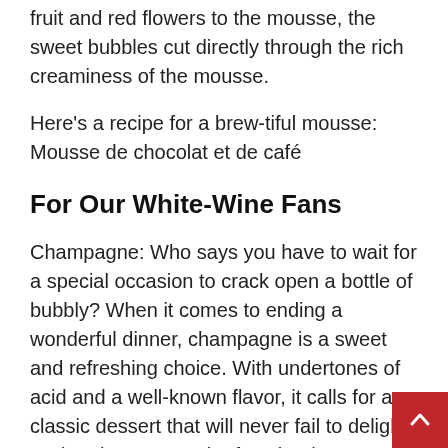fruit and red flowers to the mousse, the sweet bubbles cut directly through the rich creaminess of the mousse.
Here's a recipe for a brew-tiful mousse: Mousse de chocolat et de café
For Our White-Wine Fans
Champagne: Who says you have to wait for a special occasion to crack open a bottle of bubbly? When it comes to ending a wonderful dinner, champagne is a sweet and refreshing choice. With undertones of acid and a well-known flavor, it calls for a classic dessert that will never fail to delight — tiramisu. Due to the fact that it's one of the most elegant desserts available, it goes well